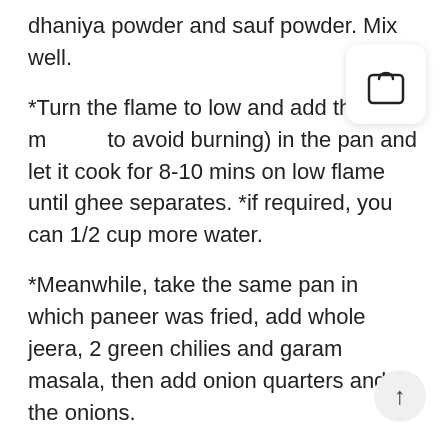dhaniya powder and sauf powder. Mix well.
*Turn the flame to low and add the curd m [icon] to avoid burning) in the pan and let it cook for 8-10 mins on low flame until ghee separates. *if required, you can 1/2 cup more water.
*Meanwhile, take the same pan in which paneer was fried, add whole jeera, 2 green chilies and garam masala, then add onion quarters and fry the onions.
*Bring the gravy to boil then add fried paneer in gravy and mix well. Add the onions quarters [icon] pan and mix well.